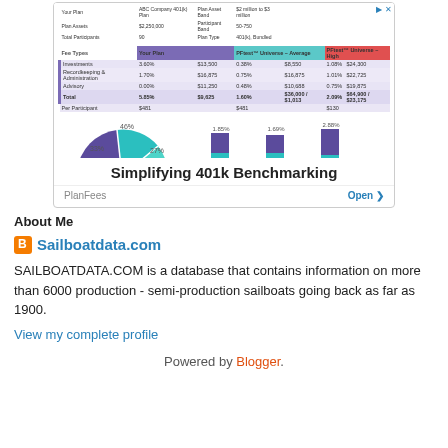[Figure (screenshot): Advertisement banner for PlanFees showing a fee comparison table with pie chart and bar charts, titled 'Simplifying 401k Benchmarking', with an Open button.]
About Me
Sailboatdata.com
SAILBOATDATA.COM is a database that contains information on more than 6000 production - semi-production sailboats going back as far as 1900.
View my complete profile
Powered by Blogger.